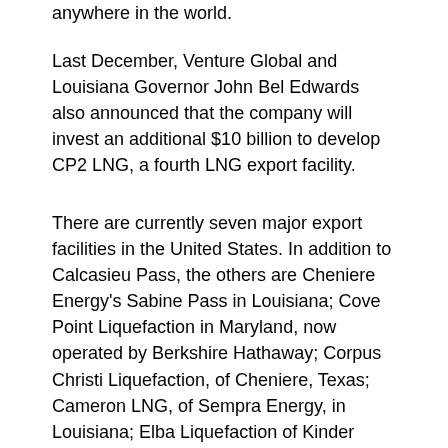anywhere in the world.
Last December, Venture Global and Louisiana Governor John Bel Edwards also announced that the company will invest an additional $10 billion to develop CP2 LNG, a fourth LNG export facility.
There are currently seven major export facilities in the United States. In addition to Calcasieu Pass, the others are Cheniere Energy's Sabine Pass in Louisiana; Cove Point Liquefaction in Maryland, now operated by Berkshire Hathaway; Corpus Christi Liquefaction, of Cheniere, Texas; Cameron LNG, of Sempra Energy, in Louisiana; Elba Liquefaction of Kinder Morgan in Georgia; and Freeport LNG, in Texas.